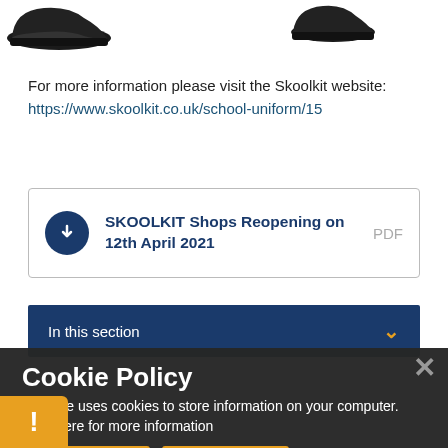[Figure (photo): Partial view of two black sneaker shoes at the top of the page]
For more information please visit the Skoolkit website:
https://www.skoolkit.co.uk/school-uniform/15
SKOOLKIT Shops Reopening on 12th April 2021  PDF
In this section
Cookie Policy
This site uses cookies to store information on your computer. Click here for more information
Allow Cookies  Deny Cookies